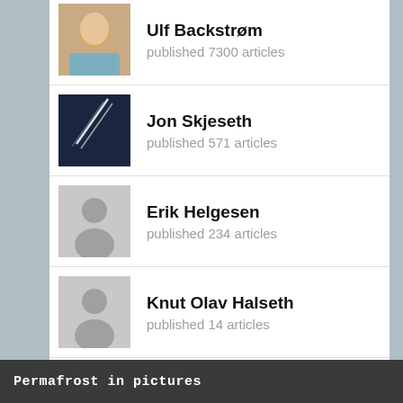Ulf Backstrøm — published 7300 articles
Jon Skjeseth — published 571 articles
Erik Helgesen — published 234 articles
Knut Olav Halseth — published 14 articles
permafrost — published 5 articles
Permafrost in pictures